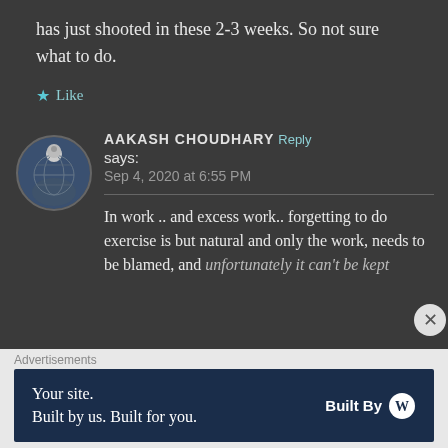has just shooted in these 2-3 weeks. So not sure what to do.
★ Like
AAKASH CHOUDHARY says: Sep 4, 2020 at 6:55 PM
In work .. and excess work.. forgetting to do exercise is but natural and only the work, needs to be blamed, and unfortunately it can't be kept
Advertisements
[Figure (screenshot): Advertisement banner: 'Your site. Built by us. Built for you. Built By WordPress logo']